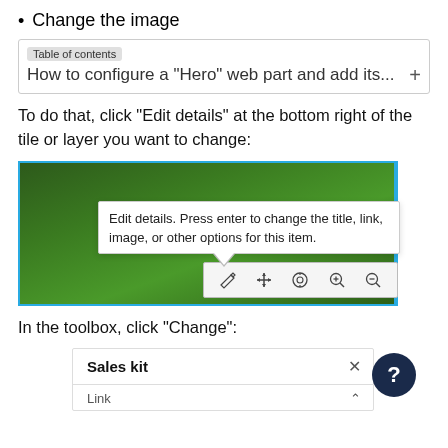Change the image
Table of contents
How to configure a "Hero" web part and add its...  +
To do that, click "Edit details" at the bottom right of the tile or layer you want to change:
[Figure (screenshot): Screenshot showing a grass background tile with an 'Edit details' tooltip popup and an image editing toolbar with pencil, move, crop, zoom in, and zoom out icons.]
In the toolbox, click "Change":
[Figure (screenshot): Screenshot showing a 'Sales kit' panel with a Link section and a help button (dark circle with question mark).]